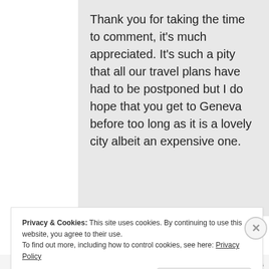Thank you for taking the time to comment, it's much appreciated. It's such a pity that all our travel plans have had to be postponed but I do hope that you get to Geneva before too long as it is a lovely city albeit an expensive one.
Privacy & Cookies: This site uses cookies. By continuing to use this website, you agree to their use.
To find out more, including how to control cookies, see here: Privacy Policy